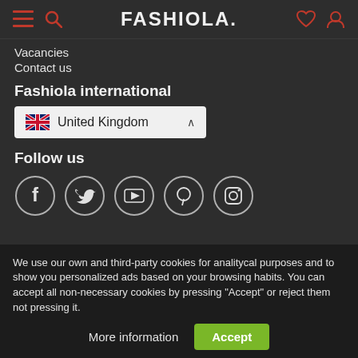FASHIOLA. [hamburger, search, heart, profile icons]
Vacancies
Contact us
Fashiola international
[Figure (other): Country selector dropdown showing United Kingdom with UK flag and chevron]
Follow us
[Figure (other): Social media icons: Facebook, Twitter, YouTube, Pinterest, Instagram in circular outlines]
We use our own and third-party cookies for analitycal purposes and to show you personalized ads based on your browsing habits. You can accept all non-necessary cookies by pressing "Accept" or reject them not pressing it.
More information   Accept